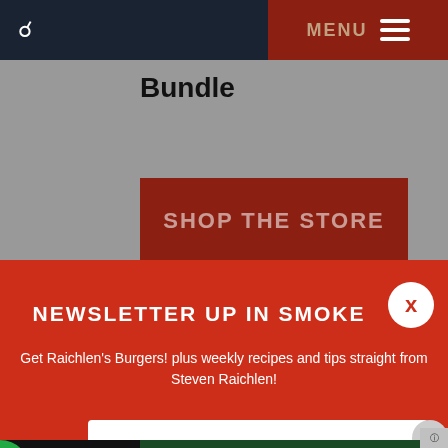MENU
Bundle
[Figure (screenshot): Shop The Store dark red banner with white semi-transparent text reading SHOP THE STORE]
NEWSLETTER UP IN SMOKE
Get Raichlen's Burgers! plus weekly recipes and tips straight from Steven Raichlen!
Email
[Figure (screenshot): Advertisement overlay: Fact: You don't need a perfect credit score to buy a home. Swipe up to expand. Virginia Housing logo.]